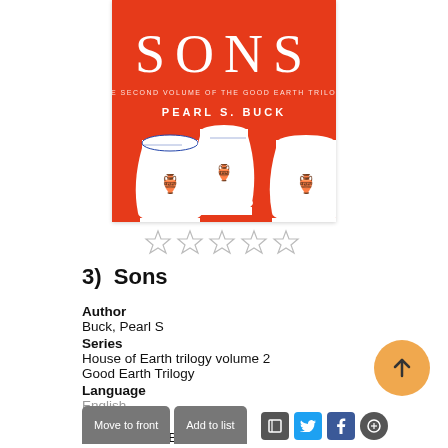[Figure (illustration): Book cover of 'Sons' by Pearl S. Buck, second volume of the Good Earth Trilogy. Red/orange background with large white text 'SONS', subtitle 'THE SECOND VOLUME OF THE GOOD EARTH TRILOGY', author name 'PEARL S. BUCK', and three decorative blue-and-white Chinese porcelain vases at the bottom.]
[Figure (other): Five empty (unrated) star rating icons in a row.]
3)  Sons
Author
Buck, Pearl S
Series
House of Earth trilogy volume 2
Good Earth Trilogy
Language
English
Formats
eAudiobook, eBook, Kindle
Description
Read Description